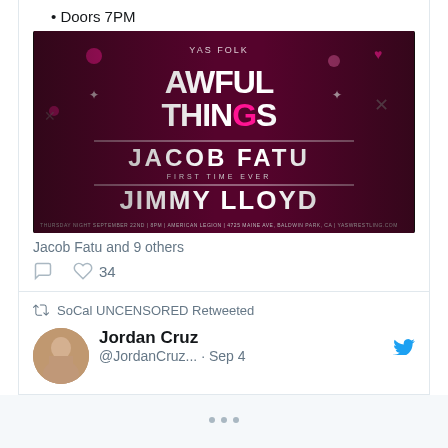• Doors 7PM
[Figure (photo): Wrestling event promotional image for YAS Wrestling 'Awful Things' featuring Jacob Fatu vs Jimmy Lloyd, First Time Ever. Thursday Night September 22nd, 8PM, American Legion, 4725 Maine Ave, Baldwin Park, CA. yaswrestling.com]
Jacob Fatu and 9 others
34 likes
SoCal UNCENSORED Retweeted
Jordan Cruz @JordanCruz... · Sep 4